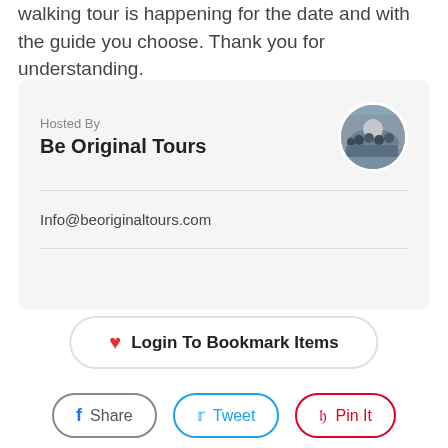walking tour is happening for the date and with the guide you choose. Thank you for understanding.
Hosted By
Be Original Tours
Info@beoriginaltours.com
[Figure (other): Circular avatar photo of a group of people on a walking tour]
Login To Bookmark Items
Share
Tweet
Pin It